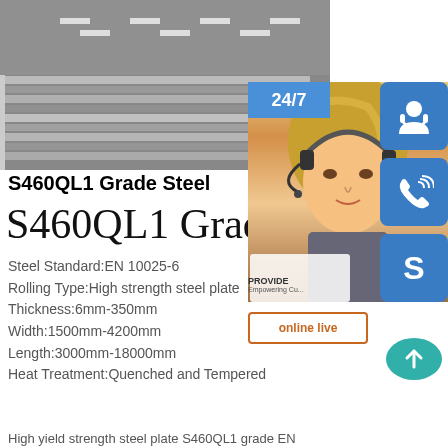[Figure (photo): Black and white photo of stacked steel plates/sheets viewed from the side, showing multiple layered metal plates with a road or surface visible above]
[Figure (photo): Customer service representative (woman with headset) with 24/7 support branding and three blue icon buttons: headset/person icon, phone icon, and Skype icon, plus an 'online live' button]
S460QL1 Grade Steel
S460QL1 Grade St
Steel Standard:EN 10025-6
Rolling Type:High strength steel plate
Thickness:6mm-350mm
Width:1500mm-4200mm
Length:3000mm-18000mm
Heat Treatment:Quenched and Tempered
High yield strength steel plate S460QL1 grade EN